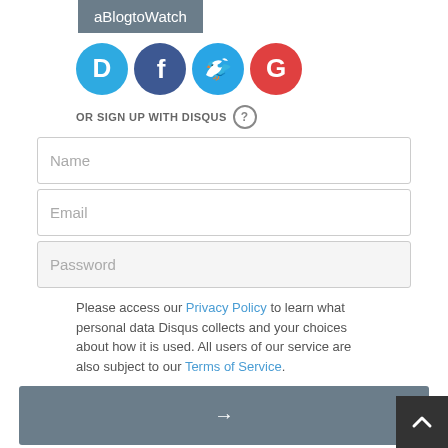aBlogtoWatch
[Figure (logo): Social login icons: Disqus (blue D), Facebook (dark blue f), Twitter (blue bird), Google (red G)]
OR SIGN UP WITH DISQUS ?
Name
Email
Password
Please access our Privacy Policy to learn what personal data Disqus collects and your choices about how it is used. All users of our service are also subject to our Terms of Service.
→
ray h. • 3 years ago
No longer made is an invitation to over charge for your used scratched up watch that very few wanted when it